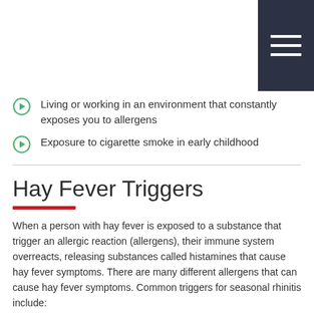Living or working in an environment that constantly exposes you to allergens
Exposure to cigarette smoke in early childhood
Hay Fever Triggers
When a person with hay fever is exposed to a substance that trigger an allergic reaction (allergens), their immune system overreacts, releasing substances called histamines that cause hay fever symptoms. There are many different allergens that can cause hay fever symptoms. Common triggers for seasonal rhinitis include:
Tree pollen (early spring)
Grass pollen (late spring and summer)
Ragweed pollen (fall)